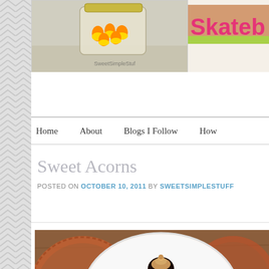[Figure (photo): Top banner area showing a jar with candy corn (orange and yellow) on the left with watermark 'SweetSimpleStuff', and partial colorful text 'Skateb' on pink/green background on the right]
Home    About    Blogs I Follow    How
Sweet Acorns
POSTED ON OCTOBER 10, 2011 BY SWEETSIMPLESTUFF
[Figure (photo): Photo of chocolate acorn treats (dark chocolate bases topped with nutter butter mini cookies piped with peanut butter frosting) arranged on a white plate, on a brown decorative paper doily background with orange lace doily accents]